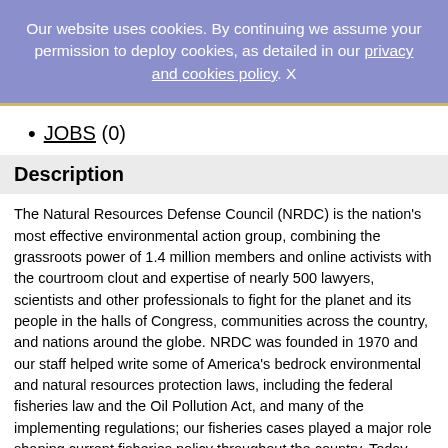Our website uses cookies. By continuing we assume your permission to deploy cookies, as detailed in our privacy and cookies policy. X
JOBS (0)
Description
The Natural Resources Defense Council (NRDC) is the nation's most effective environmental action group, combining the grassroots power of 1.4 million members and online activists with the courtroom clout and expertise of nearly 500 lawyers, scientists and other professionals to fight for the planet and its people in the halls of Congress, communities across the country, and nations around the globe. NRDC was founded in 1970 and our staff helped write some of America's bedrock environmental and natural resources protection laws, including the federal fisheries law and the Oil Pollution Act, and many of the implementing regulations; our fisheries cases played a major role shaping current fisheries policy throughout the country. Today, our staff—a force for nature—work out of offices in New York, Washington, Chicago, Los Angeles, San Francisco, Bozeman, Montana and Beijing.